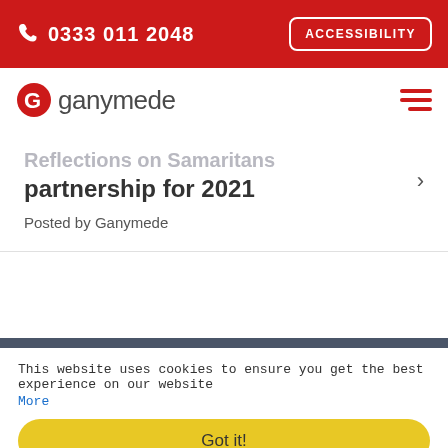0333 011 2048   ACCESSIBILITY
[Figure (logo): Ganymede company logo with red G icon and grey ganymede text, plus hamburger menu icon]
Reflections on Samaritans partnership for 2021
Posted by Ganymede
This website uses cookies to ensure you get the best experience on our website More
Got it!